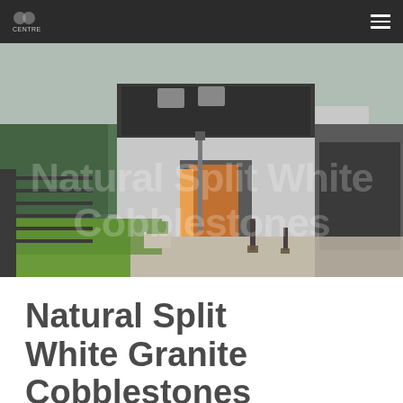Balmore Centre
[Figure (photo): Modern house exterior with gravel driveway, green lawn, and gray facade, with watermark text 'Natural Split White Cobblestones' overlaid]
Natural Split White Granite Cobblestones